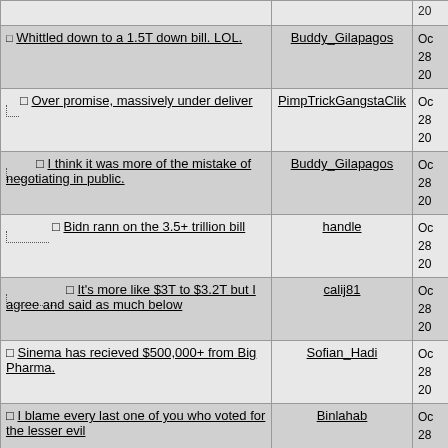| Comment | User | Date |
| --- | --- | --- |
| Whittled down to a 1.5T down bill. LOL. | Buddy_Gilapagos | Oc 28 202 |
| Over promise, massively under deliver | PimpTrickGangstaClik | Oc 28 202 |
| I think it was more of the mistake of negotiating in public. | Buddy_Gilapagos | Oc 28 202 |
| Bidn rann on the 3.5+ trillion bill | handle | Oc 28 202 |
| It's more like $3T to $3.2T but I agree and said as much below | calij81 | Oc 28 202 |
| Sinema has recieved $500,000+ from Big Pharma. | Sofian_Hadi | Oc 28 202 |
| I blame every last one of you who voted for the lesser evil | Binlahab | Oc 28 202 |
| We need a viable 3rd party tho. | spades | Oc 28 202 |
| ^ | beeinfinite | Oc 28 202 |
| I voted for Biden, not Sinema and Manchin. | Sofian_Hadi | Oc 28 |